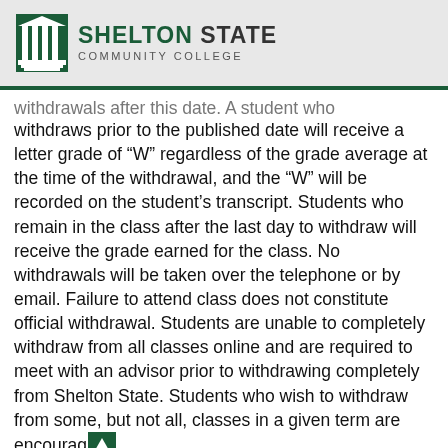SHELTON STATE COMMUNITY COLLEGE
withdrawals after this date. A student who withdraws prior to the published date will receive a letter grade of “W” regardless of the grade average at the time of the withdrawal, and the “W” will be recorded on the student’s transcript. Students who remain in the class after the last day to withdraw will receive the grade earned for the class. No withdrawals will be taken over the telephone or by email. Failure to attend class does not constitute official withdrawal. Students are unable to completely withdraw from all classes online and are required to meet with an advisor prior to withdrawing completely from Shelton State. Students who wish to withdraw from some, but not all, classes in a given term are encouraged to meet with an advisor. Students who are Pell